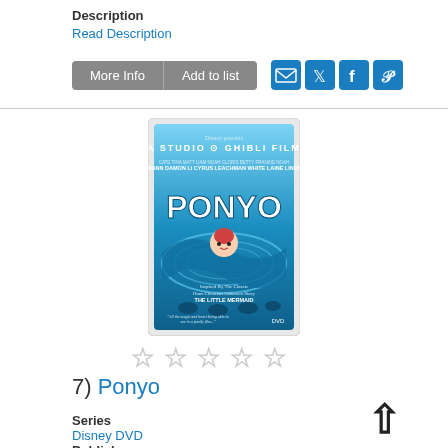Description
Read Description
[Figure (screenshot): Two buttons: More Info and Add to list, and four social sharing icons (email, twitter, facebook, pinterest)]
[Figure (photo): Ponyo DVD cover art - Studio Ghibli film, Disney presents, blue ocean background with animated fish-girl character]
[Figure (other): Five empty star rating icons]
7)  Ponyo
Series
Disney DVD
Publisher
Walt Disney Studios Home Entertainment :